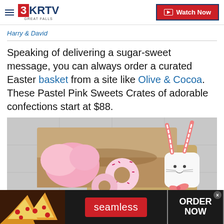3KRTV GREAT FALLS — Watch Now
Harry & David
Speaking of delivering a sugar-sweet message, you can always order a curated Easter basket from a site like Olive & Cocoa. These Pastel Pink Sweets Crates of adorable confections start at $88.
[Figure (photo): Photo of pastel pink Easter sweets crate containing pink cotton candy, pink-frosted donuts with sprinkles, and a marshmallow bunny with candy cane ears, arranged in a decorative box on a wooden surface.]
[Figure (photo): Seamless food delivery advertisement banner showing pizza slices on the left, a red Seamless logo pill in the center, and an ORDER NOW button on the right with a close X button.]